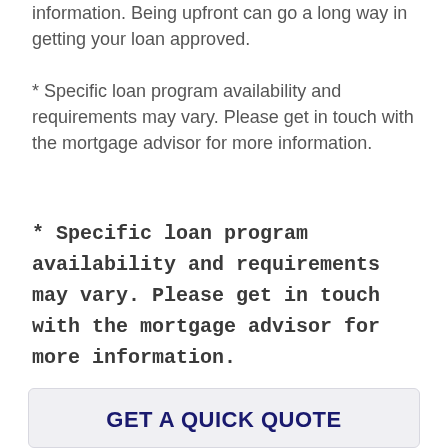information. Being upfront can go a long way in getting your loan approved.
* Specific loan program availability and requirements may vary. Please get in touch with the mortgage advisor for more information.
* Specific loan program availability and requirements may vary. Please get in touch with the mortgage advisor for more information.
GET A QUICK QUOTE
First Name *